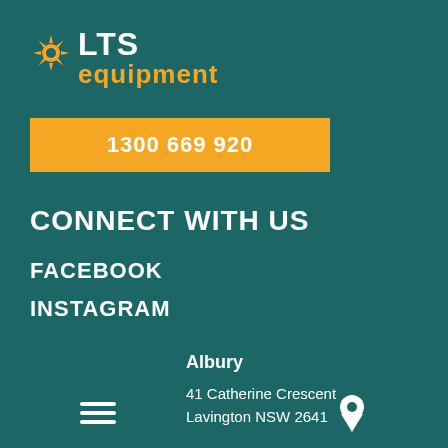[Figure (logo): LTS Equipment logo with orange sunburst icon, white LTS text and orange equipment text on teal background]
1300 669 920
CONNECT WITH US
FACEBOOK
INSTAGRAM
Albury
41 Catherine Crescent
Lavington NSW 2641
[Figure (infographic): Bottom navigation bar with hamburger menu icon on left and map pin/location icon on right]